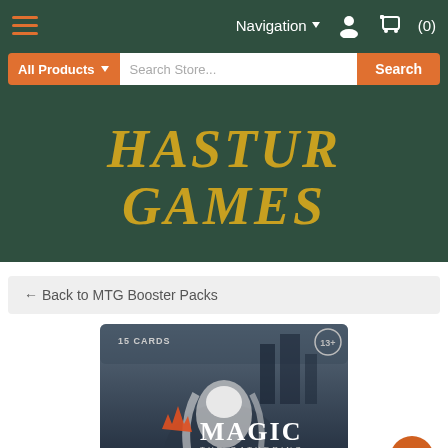Navigation (0)
All Products ▾  Search Store...  Search
HASTUR GAMES
← Back to MTG Booster Packs
[Figure (photo): Magic: The Gathering booster pack showing '15 CARDS' and '13+' label, with a character with white hair on the front, dark blue packaging]